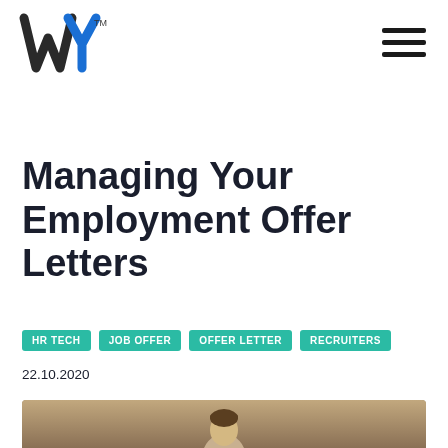WY (logo) with hamburger menu
Managing Your Employment Offer Letters
HR TECH   JOB OFFER   OFFER LETTER   RECRUITERS
22.10.2020
[Figure (photo): Photo of a person, partially visible at bottom of page]